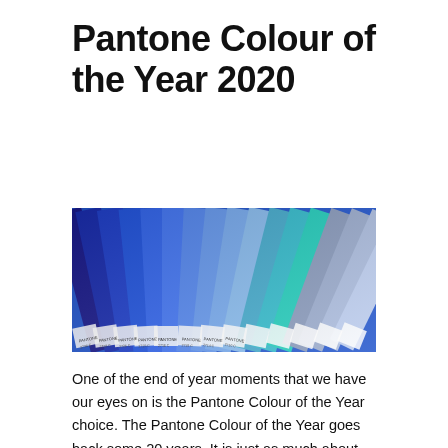Pantone Colour of the Year 2020
[Figure (photo): Fanned-out Pantone colour swatch book showing various shades of blue and teal, with white tabs displaying Pantone colour names and codes.]
One of the end of year moments that we have our eyes on is the Pantone Colour of the Year choice. The Pantone Colour of the Year goes back some 20 years. It is just as much about assessing current